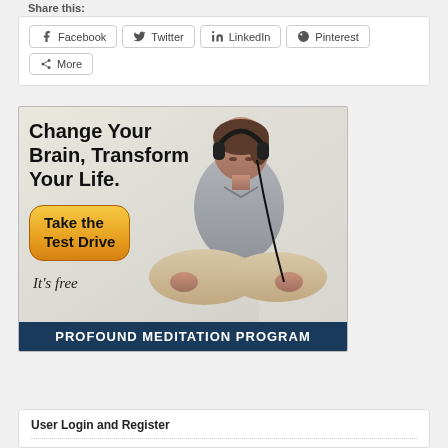Share this:
[Figure (screenshot): Social share buttons: Facebook, Twitter, LinkedIn, Pinterest, More]
[Figure (illustration): Advertisement for Profound Meditation Program showing a woman in lotus position wearing headphones. Text reads: Change Your Brain, Transform Your Life. Take the Test Drive. It's free. Footer: PROFOUND MEDITATION PROGRAM]
User Login and Register